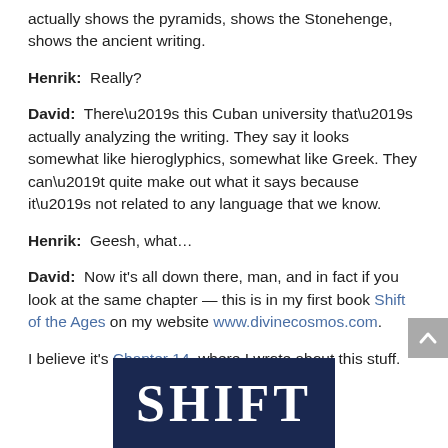actually shows the pyramids, shows the Stonehenge, shows the ancient writing.
Henrik:  Really?
David:  There’s this Cuban university that’s actually analyzing the writing. They say it looks somewhat like hieroglyphics, somewhat like Greek. They can’t quite make out what it says because it’s not related to any language that we know.
Henrik:  Geesh, what…
David:  Now it’s all down there, man, and in fact if you look at the same chapter — this is in my first book Shift of the Ages on my website www.divinecosmos.com.
I believe it’s Chapter 14, where I wrote about this stuff.
[Figure (logo): Dark navy blue book cover image showing the word SHIFT in large white serif letters]